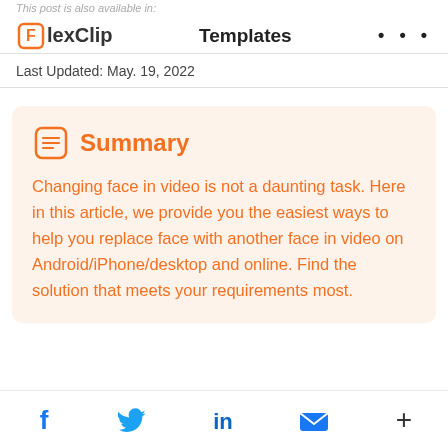This post is also available in: FlexClip Templates ...
Last Updated: May. 19, 2022
Summary
Changing face in video is not a daunting task. Here in this article, we provide you the easiest ways to help you replace face with another face in video on Android/iPhone/desktop and online. Find the solution that meets your requirements most.
Social share icons: Facebook, Twitter, LinkedIn, Email, Plus